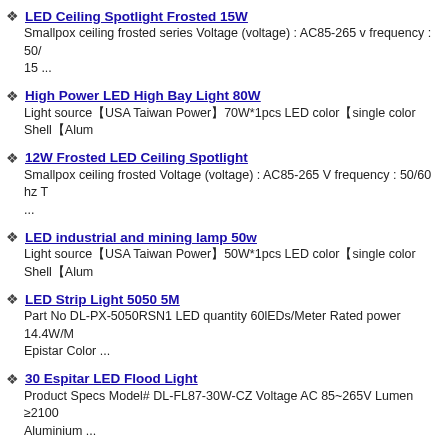LED Ceiling Spotlight Frosted 15W
Smallpox ceiling frosted series Voltage (voltage) : AC85-265 v frequency : 50/
15 ...
High Power LED High Bay Light 80W
Light source【USA Taiwan Power】70W*1pcs LED color【single color Shell【Alum
12W Frosted LED Ceiling Spotlight
Smallpox ceiling frosted Voltage (voltage) : AC85-265 V frequency : 50/60 hz T
...
LED industrial and mining lamp 50w
Light source【USA Taiwan Power】50W*1pcs LED color【single color Shell【Alum
LED Strip Light 5050 5M
Part No DL-PX-5050RSN1 LED quantity 60lEDs/Meter Rated power 14.4W/M
Epistar Color ...
30 Espitar LED Flood Light
Product Specs Model# DL-FL87-30W-CZ Voltage AC 85~265V Lumen ≥2100
Aluminium ...
1w*3 LED underwater lihgt
Features: Light source【Taiwan Power【1W*3pcs LED color【RGB【Red【Yellow【B
IP65 waterproof 5*1W RGBW underwater led lights
Light source【Taiwan Power【1W*5pcs LED color【RGB【Red【Yellow【Blue【Greer
LED 9W Underwater Light LED Lamp